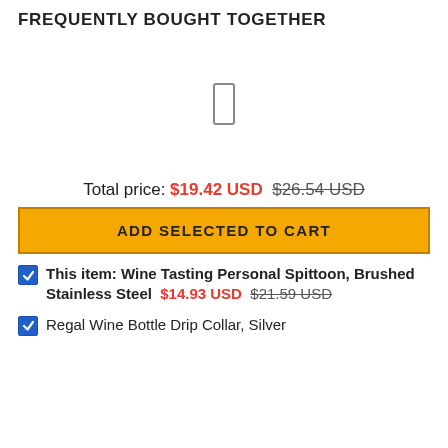FREQUENTLY BOUGHT TOGETHER
[Figure (illustration): Product image placeholder area with a small rectangular wine bottle or spittoon icon outline in the center]
Total price: $19.42 USD  $26.54 USD (strikethrough)
ADD SELECTED TO CART
This item: Wine Tasting Personal Spittoon, Brushed Stainless Steel  $14.93 USD  $21.59 USD (strikethrough)
Regal Wine Bottle Drip Collar, Silver